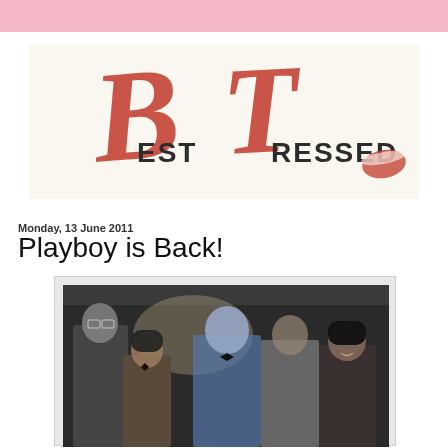[Figure (logo): BestDressed blog logo with large red handwritten-style B and T letters and 'EST RESSED' text in dark serif font, with a red lipstick kiss mark]
Monday, 13 June 2011
Playboy is Back!
[Figure (photo): Black and white vintage photo of people at what appears to be a Playboy club event, showing men and women in formal/bunny attire, with a blue-tinted figure in the center]